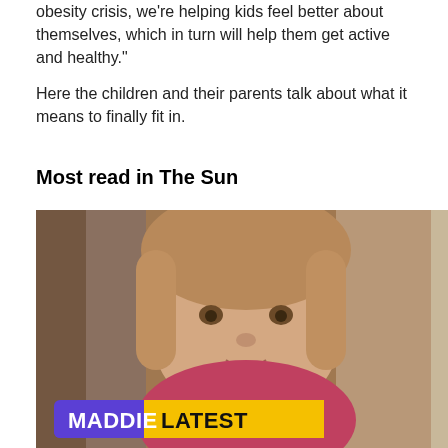obesity crisis, we're helping kids feel better about themselves, which in turn will help them get active and healthy."
Here the children and their parents talk about what it means to finally fit in.
Most read in The Sun
[Figure (photo): Photo of a young child with light brown hair wearing a pink top, with a banner overlay reading 'MADDIE LATEST' in white and black text on purple and yellow backgrounds.]